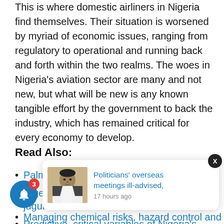This is where domestic airliners in Nigeria find themselves. Their situation is worsened by myriad of economic issues, ranging from regulatory to operational and running back and forth within the two realms. The woes in Nigeria's aviation sector are many and not new, but what will be new is any known tangible effort by the government to back the industry, which has remained critical for every economy to develop.
Read Also:
PalmPay hits 10m users in Nigeria
Nigeria's forex crisis has airlines by the jugular
Predictive, critical variables of Nigeria's SME business f...
Nigeria str... nportatio...
Managing chemical risks, hazard control and
[Figure (other): Notification popup card showing a man in a white shirt with red bow tie, with headline 'Politicians' overseas meetings ill-advised,' and '17 hours ago'. A blue bell notification icon with red badge showing '3' is on the left. A dark close button 'X' is in the top right corner.]